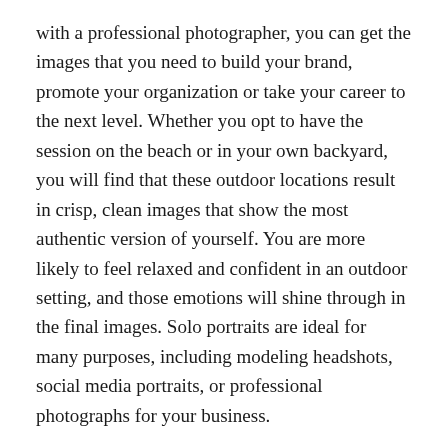with a professional photographer, you can get the images that you need to build your brand, promote your organization or take your career to the next level. Whether you opt to have the session on the beach or in your own backyard, you will find that these outdoor locations result in crisp, clean images that show the most authentic version of yourself. You are more likely to feel relaxed and confident in an outdoor setting, and those emotions will shine through in the final images. Solo portraits are ideal for many purposes, including modeling headshots, social media portraits, or professional photographs for your business.
Czech Republic Couple Portraits
The genuine love that two people share with one another is timeless, and that relationship should be preserved in stunning portraits. Many people